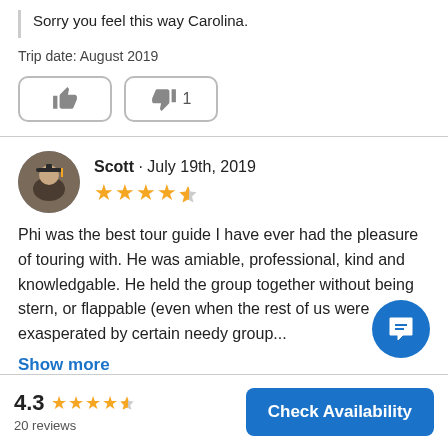Sorry you feel this way Carolina.
Trip date: August 2019
Scott · July 19th, 2019
4.5 star rating
Phi was the best tour guide I have ever had the pleasure of touring with. He was amiable, professional, kind and knowledgable. He held the group together without being stern, or flappable (even when the rest of us were exasperated by certain needy group...
Show more
4.3
20 reviews
Check Availability